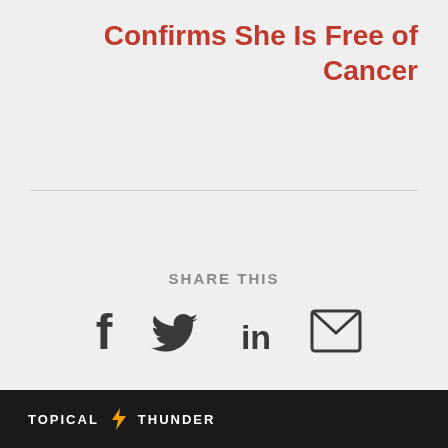Confirms She Is Free of Cancer
[Figure (infographic): Share This section with social media icons: Facebook (f), Twitter (bird), LinkedIn (in), Email (envelope)]
TOPICAL ⚡ THUNDER